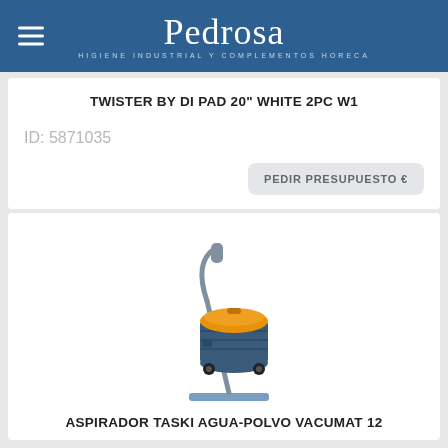Pedrosa — HIGIENE INDUSTRIAL Y COMPLEMENTOS HORECA
TWISTER BY DI PAD 20" WHITE 2PC W1
ID: 5871035
PEDIR PRESUPUESTO €
[Figure (photo): Industrial wet-dry vacuum cleaner with blue body, orange lid, extended hose and floor tool attachment]
ASPIRADOR TASKI AGUA-POLVO VACUMAT 12